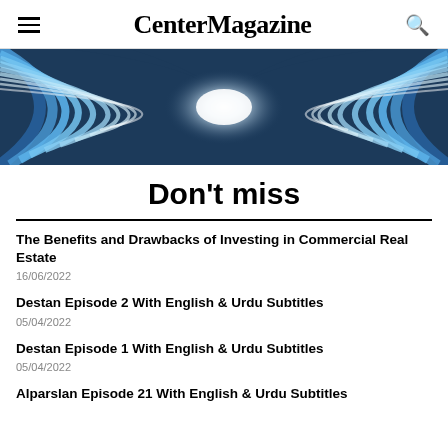Center Magazine
[Figure (illustration): Abstract wavy blue and white striped design with a bright central light source, converging lines forming a tunnel-like pattern]
Don't miss
The Benefits and Drawbacks of Investing in Commercial Real Estate
16/06/2022
Destan Episode 2 With English & Urdu Subtitles
05/04/2022
Destan Episode 1 With English & Urdu Subtitles
05/04/2022
Alparslan Episode 21 With English & Urdu Subtitles